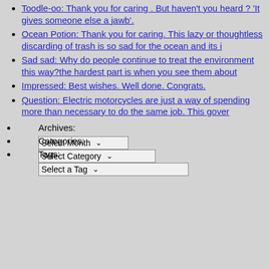Toodle-oo: Thank you for caring . But haven't you heard ? 'It gives someone else a jawb'.
Ocean Potion: Thank you for caring. This lazy or thoughtless discarding of trash is so sad for the ocean and its i
Sad sad: Why do people continue to treat the environment this way?the hardest part is when you see them about
Impressed: Best wishes. Well done. Congrats.
Question: Electric motorcycles are just a way of spending more than necessary to do the same job. This gover
Archives:
Select Month
Categories:
Select Category
Tags:
Select a Tag